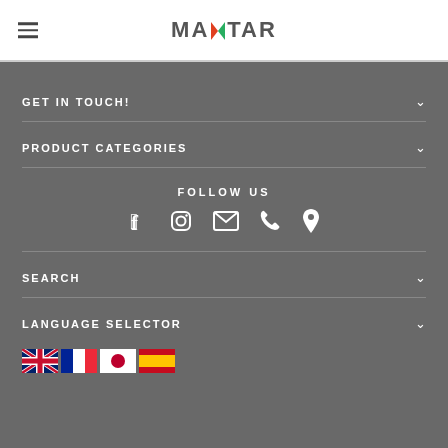[Figure (logo): MAXTAR logo with colorful X in the center, hamburger menu icon on the left]
GET IN TOUCH!
PRODUCT CATEGORIES
FOLLOW US
[Figure (infographic): Social media icons: Facebook, Instagram, Email, Phone, Location]
SEARCH
LANGUAGE SELECTOR
[Figure (infographic): Four flag icons: UK, France, Japan, Spain]